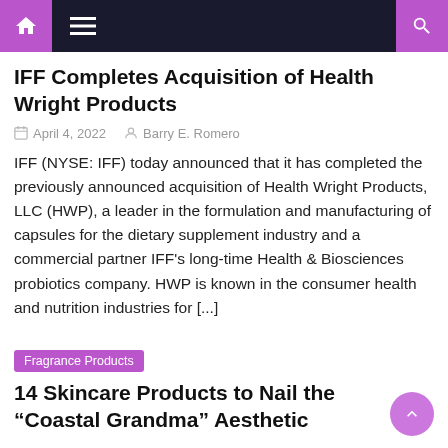Navigation bar with home, menu, and search icons
IFF Completes Acquisition of Health Wright Products
April 4, 2022   Barry E. Romero
IFF (NYSE: IFF) today announced that it has completed the previously announced acquisition of Health Wright Products, LLC (HWP), a leader in the formulation and manufacturing of capsules for the dietary supplement industry and a commercial partner IFF’s long-time Health & Biosciences probiotics company. HWP is known in the consumer health and nutrition industries for [...]
Fragrance Products
14 Skincare Products to Nail the “Coastal Grandma” Aesthetic